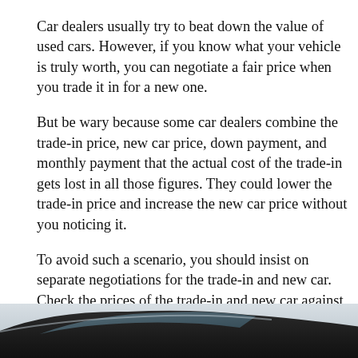Car dealers usually try to beat down the value of used cars. However, if you know what your vehicle is truly worth, you can negotiate a fair price when you trade it in for a new one.
But be wary because some car dealers combine the trade-in price, new car price, down payment, and monthly payment that the actual cost of the trade-in gets lost in all those figures. They could lower the trade-in price and increase the new car price without you noticing it.
To avoid such a scenario, you should insist on separate negotiations for the trade-in and new car. Check the prices of the trade-in and new car against the offers you received from other car dealers, then choose the dealer that gives you the most favorable deal.
[Figure (photo): Partial view of a car from low angle, showing the roof and window area against a light background.]